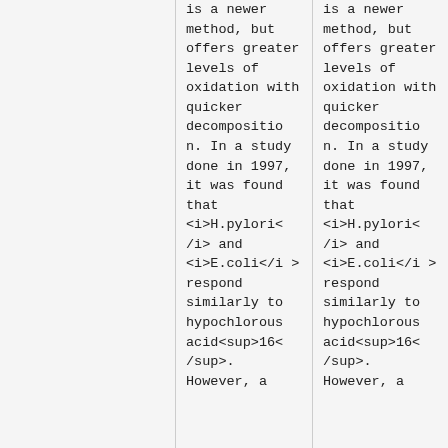is a newer method, but offers greater levels of oxidation with quicker decomposition. In a study done in 1997, it was found that H.pylori and E.coli respond similarly to hypochlorous acid16. However, a
is a newer method, but offers greater levels of oxidation with quicker decomposition. In a study done in 1997, it was found that H.pylori and E.coli respond similarly to hypochlorous acid16. However, a